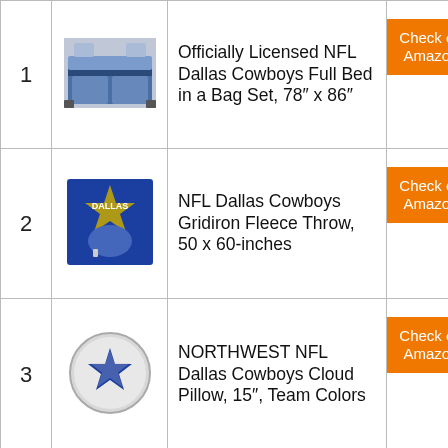| # | Image | Product | Link |
| --- | --- | --- | --- |
| 1 | [bed image] | Officially Licensed NFL Dallas Cowboys Full Bed in a Bag Set, 78″ x 86″ | Check on Amazon |
| 2 | [blanket image] | NFL Dallas Cowboys Gridiron Fleece Throw, 50 x 60-inches | Check on Amazon |
| 3 | [pillow image] | NORTHWEST NFL Dallas Cowboys Cloud Pillow, 15″, Team Colors | Check on Amazon |
| 4 |  |  |  |